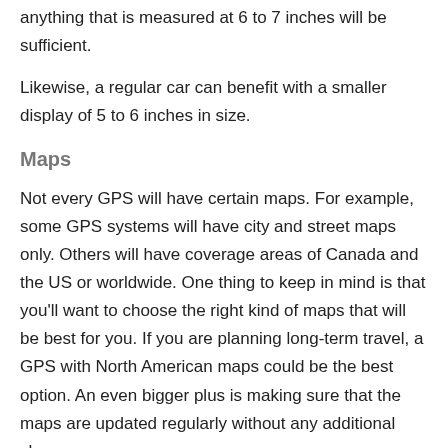anything that is measured at 6 to 7 inches will be sufficient.
Likewise, a regular car can benefit with a smaller display of 5 to 6 inches in size.
Maps
Not every GPS will have certain maps. For example, some GPS systems will have city and street maps only. Others will have coverage areas of Canada and the US or worldwide. One thing to keep in mind is that you'll want to choose the right kind of maps that will be best for you. If you are planning long-term travel, a GPS with North American maps could be the best option. An even bigger plus is making sure that the maps are updated regularly without any additional charge.
Compatibility (Smartphones)
Most GPS navigators can be compatible with your